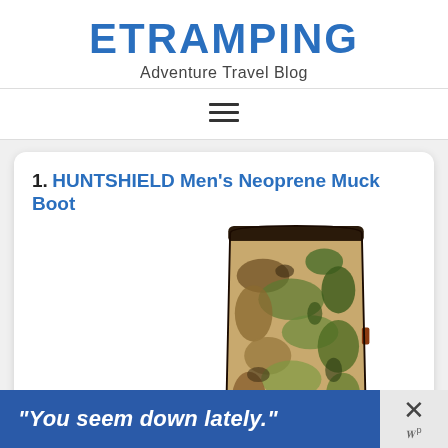ETRAMPING
Adventure Travel Blog
[Figure (other): Hamburger menu icon (three horizontal lines)]
1. HUNTSHIELD Men’s Neoprene Muck Boot
[Figure (photo): HUNTSHIELD Men’s Neoprene Muck Boot in camouflage pattern (realtree camo), showing the upper portion of the boot]
“You seem down lately.”